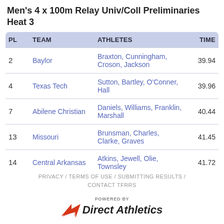Men's 4 x 100m Relay Univ/Coll Preliminaries Heat 3
| PL | TEAM | ATHLETES | TIME |
| --- | --- | --- | --- |
| 2 | Baylor | Braxton, Cunningham, Croson, Jackson | 39.94 |
| 4 | Texas Tech | Sutton, Bartley, O'Conner, Hall | 39.96 |
| 7 | Abilene Christian | Daniels, Williams, Franklin, Marshall | 40.44 |
| 13 | Missouri | Brunsman, Charles, Clarke, Graves | 41.45 |
| 14 | Central Arkansas | Atkins, Jewell, Olie, Townsley | 41.72 |
PRIVACY / TERMS OF USE / SUBMITTING RESULTS / CONTACT TFRRS
[Figure (logo): Direct Athletics logo with red arrow icon and italic bold text 'Direct Athletics' with 'POWERED BY' above]